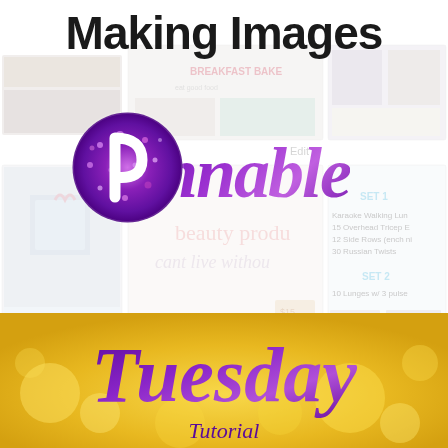Making Images
[Figure (illustration): A collage of Pinterest boards shown as a faded background, with blurred pin images for food, beauty products, exercise routines, and home decor.]
[Figure (logo): Pinterest logo — circular purple glitter-effect badge with a white P symbol, representing the Pinnable concept.]
Pinnable
[Figure (illustration): Yellow/gold bokeh background banner at the bottom with purple glitter-effect script reading 'Tuesday' and smaller italic text below reading 'Tutorial'.]